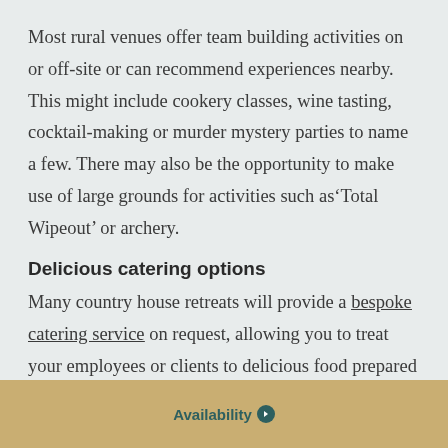Most rural venues offer team building activities on or off-site or can recommend experiences nearby. This might include cookery classes, wine tasting, cocktail-making or murder mystery parties to name a few. There may also be the opportunity to make use of large grounds for activities such as‘Total Wipeout’ or archery.
Delicious catering options
Many country house retreats will provide a bespoke catering service on request, allowing you to treat your employees or clients to delicious food prepared on-site. One of the many perks of dining at a countryside venue compared to a city location is the locally sourced, fresh
Availability